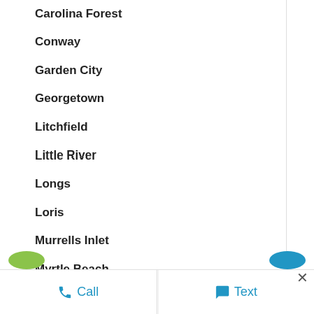Carolina Forest
Conway
Garden City
Georgetown
Litchfield
Little River
Longs
Loris
Murrells Inlet
Myrtle Beach
North Myrtle Beach
Pawleys Island
Socastee
Call   Text